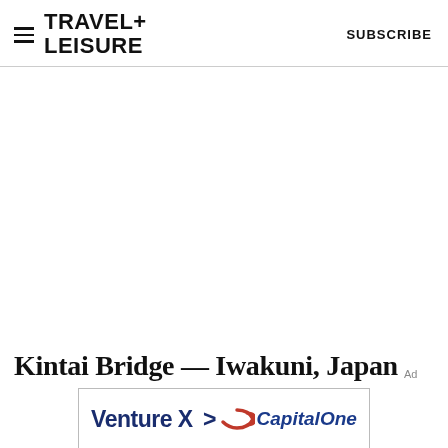TRAVEL+ LEISURE   SUBSCRIBE
[Figure (other): Large white/blank image area in the center of the page]
Kintai Bridge — Iwakuni, Japan
[Figure (other): Advertisement banner for Capital One Venture X credit card showing 'Venture X > CapitalOne']